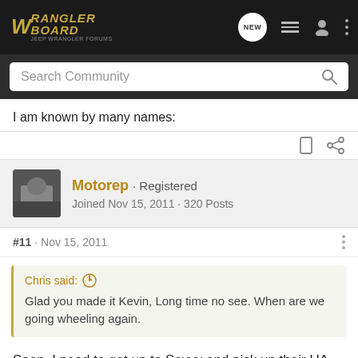Wrangler Board
Search Community
I am known by many names:
Motorep · Registered
Joined Nov 15, 2011 · 320 Posts
#11 · Nov 15, 2011
Chris said:
Glad you made it Kevin, Long time no see. When are we going wheeling again.
Soon. I need to get up to Savvy and pick up their UA for the Jeep. Should be able to do that on Friday. Trying to be ready by